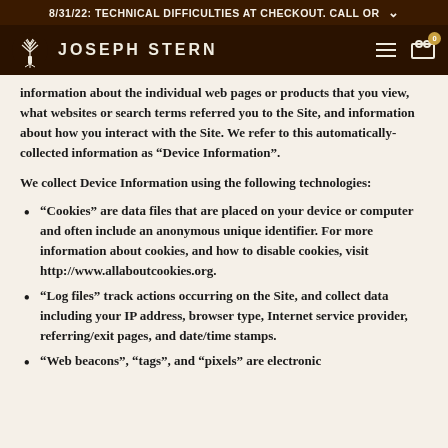8/31/22: TECHNICAL DIFFICULTIES AT CHECKOUT. CALL OR
[Figure (logo): Joseph Stern tree logo with brand name navigation bar]
information about the individual web pages or products that you view, what websites or search terms referred you to the Site, and information about how you interact with the Site. We refer to this automatically-collected information as “Device Information”.
We collect Device Information using the following technologies:
“Cookies” are data files that are placed on your device or computer and often include an anonymous unique identifier. For more information about cookies, and how to disable cookies, visit http://www.allaboutcookies.org.
“Log files” track actions occurring on the Site, and collect data including your IP address, browser type, Internet service provider, referring/exit pages, and date/time stamps.
“Web beacons”, “tags”, and “pixels” are electronic